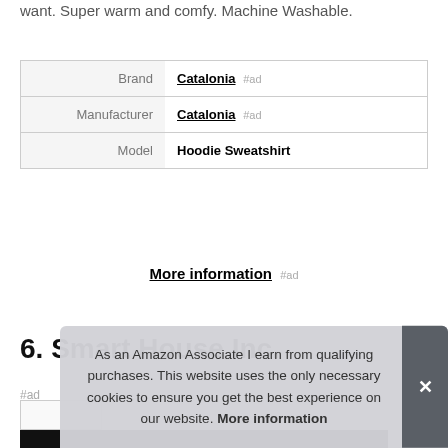want. Super warm and comfy. Machine Washable.
|  |  |
| --- | --- |
| Brand | Catalonia #ad |
| Manufacturer | Catalonia #ad |
| Model | Hoodie Sweatshirt |
More information #ad
6. Smart House Inc.
#ad
As an Amazon Associate I earn from qualifying purchases. This website uses the only necessary cookies to ensure you get the best experience on our website. More information